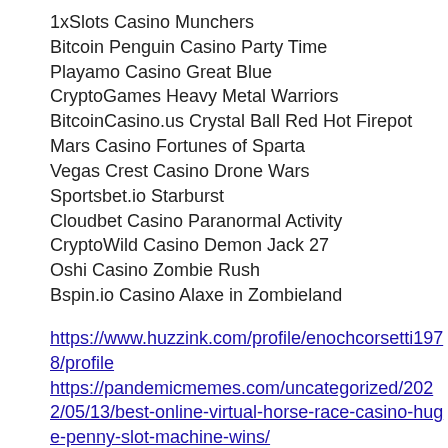1xSlots Casino Munchers
Bitcoin Penguin Casino Party Time
Playamo Casino Great Blue
CryptoGames Heavy Metal Warriors
BitcoinCasino.us Crystal Ball Red Hot Firepot
Mars Casino Fortunes of Sparta
Vegas Crest Casino Drone Wars
Sportsbet.io Starburst
Cloudbet Casino Paranormal Activity
CryptoWild Casino Demon Jack 27
Oshi Casino Zombie Rush
Bspin.io Casino Alaxe in Zombieland
https://www.huzzink.com/profile/enochcorsetti1978/profile
https://pandemicmemes.com/uncategorized/2022/05/13/best-online-virtual-horse-race-casino-huge-penny-slot-machine-wins/
https://www.carolinemariejeanne.com/profile/arnettazerko2001/profile
https://www.servicespandero.com/profile/nick